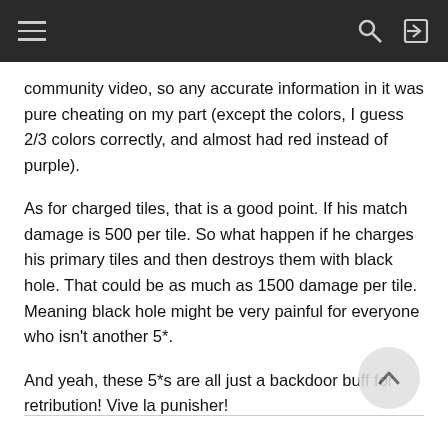navigation bar with hamburger menu, search, and login icons
community video, so any accurate information in it was pure cheating on my part (except the colors, I guess 2/3 colors correctly, and almost had red instead of purple).
As for charged tiles, that is a good point. If his match damage is 500 per tile. So what happen if he charges his primary tiles and then destroys them with black hole. That could be as much as 1500 damage per tile. Meaning black hole might be very painful for everyone who isn't another 5*.
And yeah, these 5*s are all just a backdoor buff for retribution! Vive la punisher!